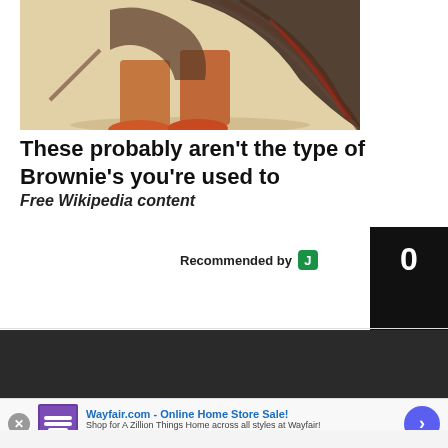[Figure (illustration): Partial view of an old illustration showing a figure with reddish-brown shoes and dark flowing hair or fabric, on a beige background]
These probably aren't the type of Brownie's you're used to
Free Wikipedia content
Recommended by
[Figure (screenshot): Black box with white number 0 — social share/comment counter UI element]
[Figure (screenshot): Wayfair.com advertisement banner: 'Wayfair.com - Online Home Store Sale! Shop for A Zillion Things Home across all styles at Wayfair! www.wayfair.com' with a purple bedroom furniture thumbnail and blue arrow button]